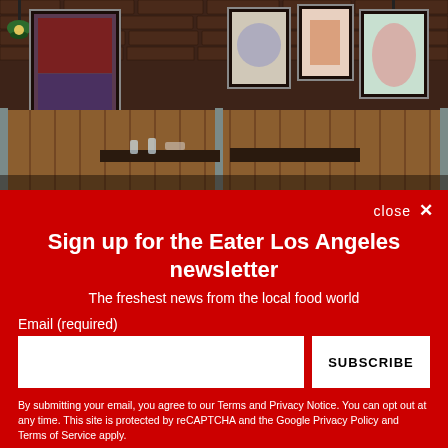[Figure (photo): Interior of a restaurant with brown leather booth seating, dark wood tables, brick walls, framed artwork, and hanging pendant lights]
close ✕
Sign up for the Eater Los Angeles newsletter
The freshest news from the local food world
Email (required)
SUBSCRIBE
By submitting your email, you agree to our Terms and Privacy Notice. You can opt out at any time. This site is protected by reCAPTCHA and the Google Privacy Policy and Terms of Service apply.